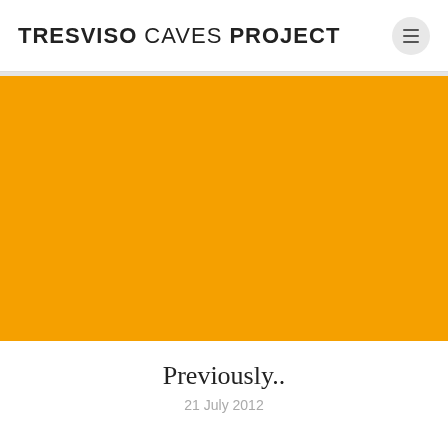TRESVISO CAVES PROJECT
[Figure (photo): Solid orange/amber colored rectangular image placeholder]
Previously..
21 July 2012